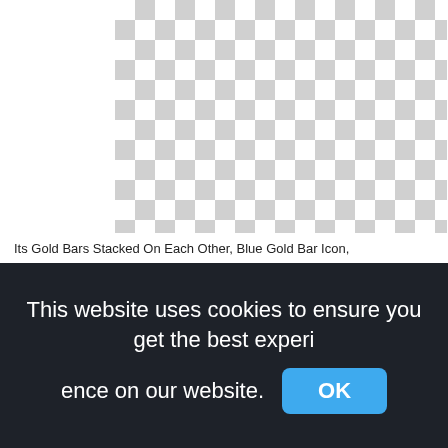[Figure (illustration): Transparent/empty image area shown as a checkerboard pattern (grey and white squares), indicating a transparent background image of gold bars stacked on each other.]
Its Gold Bars Stacked On Each Other, Blue Gold Bar Icon,
This website uses cookies to ensure you get the best experience on our website.